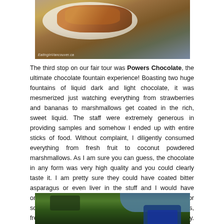[Figure (photo): Food photo showing a plate with chocolate-coated items, watermark reads EatingInVancouver.ca]
The third stop on our fair tour was Powers Chocolate, the ultimate chocolate fountain experience! Boasting two huge fountains of liquid dark and light chocolate, it was mesmerized just watching everything from strawberries and bananas to marshmallows get coated in the rich, sweet liquid. The staff were extremely generous in providing samples and somehow I ended up with entire sticks of food. Without complaint, I diligently consumed everything from fresh fruit to coconut powdered marshmallows. As I am sure you can guess, the chocolate in any form was very high quality and you could clearly taste it. I am pretty sure they could have coated bitter asparagus or even liver in the stuff and I would have ordered a dozen sticks. For fair goers looking for something a little healthier than say deep fried mars bars, fresh fruit with a little chocolate may be just up your alley. Stay tuned tomorrow for the PNE 2012 Media Tasting Event Part 2!
[Figure (photo): Outdoor photo showing green trees and a blue structure]